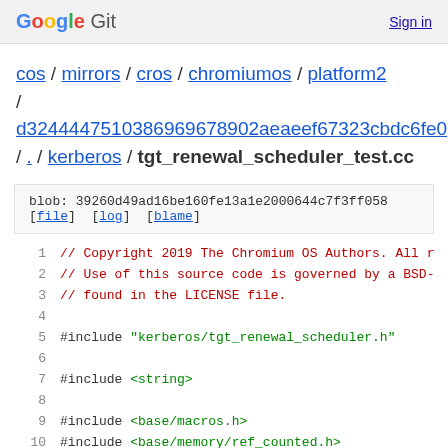Google Git  Sign in
cos / mirrors / cros / chromiumos / platform2 / d3244447510386969678902aeaeef67323cbdc6fe0 / . / kerberos / tgt_renewal_scheduler_test.cc
blob: 39260d49ad16be160fe13a1e2000644c7f3ff058 [file] [log] [blame]
// Copyright 2019 The Chromium OS Authors. All r
// Use of this source code is governed by a BSD-
// found in the LICENSE file.

#include "kerberos/tgt_renewal_scheduler.h"

#include <string>

#include <base/macros.h>
#include <base/memory/ref_counted.h>